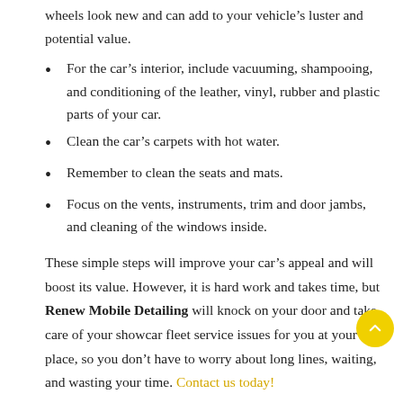wheels look new and can add to your vehicle's luster and potential value.
For the car's interior, include vacuuming, shampooing, and conditioning of the leather, vinyl, rubber and plastic parts of your car.
Clean the car's carpets with hot water.
Remember to clean the seats and mats.
Focus on the vents, instruments, trim and door jambs, and cleaning of the windows inside.
These simple steps will improve your car's appeal and will boost its value. However, it is hard work and takes time, but Renew Mobile Detailing will knock on your door and take care of your showcar fleet service issues for you at your place, so you don't have to worry about long lines, waiting, and wasting your time. Contact us today!
Don't trust your car to just anyone. It doesn't matter if you have